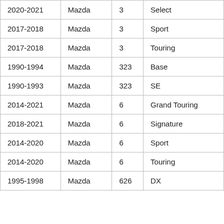| 2020-2021 | Mazda | 3 | Select |
| 2017-2018 | Mazda | 3 | Sport |
| 2017-2018 | Mazda | 3 | Touring |
| 1990-1994 | Mazda | 323 | Base |
| 1990-1993 | Mazda | 323 | SE |
| 2014-2021 | Mazda | 6 | Grand Touring |
| 2018-2021 | Mazda | 6 | Signature |
| 2014-2020 | Mazda | 6 | Sport |
| 2014-2020 | Mazda | 6 | Touring |
| 1995-1998 | Mazda | 626 | DX |